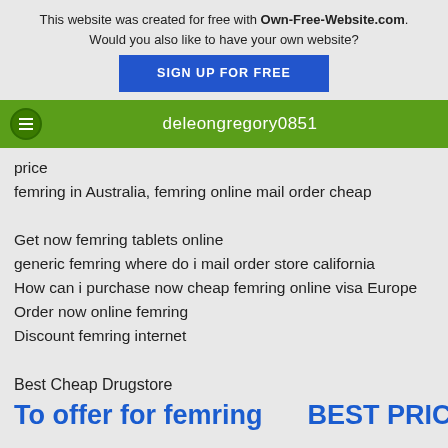This website was created for free with Own-Free-Website.com. Would you also like to have your own website? SIGN UP FOR FREE
deleongregory0851
price
femring in Australia, femring online mail order cheap

Get now femring tablets online
generic femring where do i mail order store california
How can i purchase now cheap femring online visa Europe
Order now online femring
Discount femring internet
Best Cheap Drugstore
To offer for femring BEST PRICE